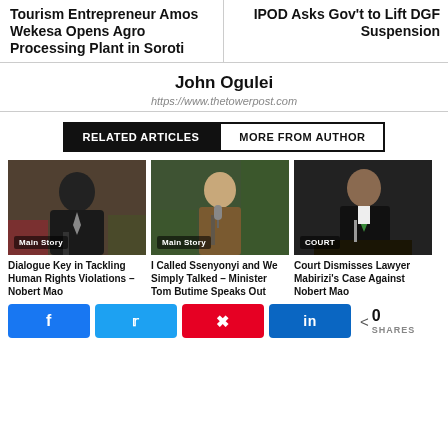Tourism Entrepreneur Amos Wekesa Opens Agro Processing Plant in Soroti
IPOD Asks Gov't to Lift DGF Suspension
John Ogulei
https://www.thetowerpost.com
RELATED ARTICLES
MORE FROM AUTHOR
[Figure (photo): Man in suit at meeting table, badge: Main Story]
Dialogue Key in Tackling Human Rights Violations – Nobert Mao
[Figure (photo): Older man speaking into microphone outdoors, badge: Main Story]
I Called Ssenyonyi and We Simply Talked – Minister Tom Butime Speaks Out
[Figure (photo): Man in suit with green tie seated at desk, badge: COURT]
Court Dismisses Lawyer Mabirizi's Case Against Nobert Mao
0 SHARES